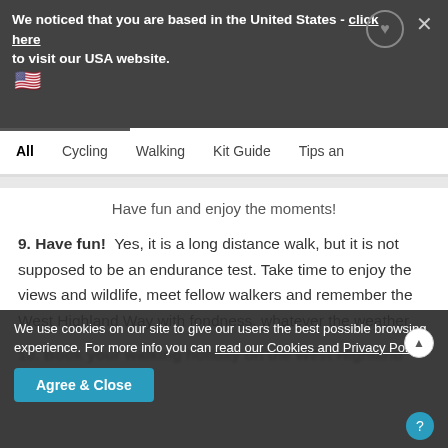We noticed that you are based in the United States - click here to visit our USA website.
All   Cycling   Walking   Kit Guide   Tips and
Have fun and enjoy the moments!
9. Have fun!  Yes, it is a long distance walk, but it is not supposed to be an endurance test. Take time to enjoy the views and wildlife, meet fellow walkers and remember the West Highland Way with fondness, whatever the weather.
10. Book your walking holiday on the West Highland Way
We use cookies on our site to give our users the best possible browsing experience. For more info you can read our Cookies and Privacy Policy
Agree & Close